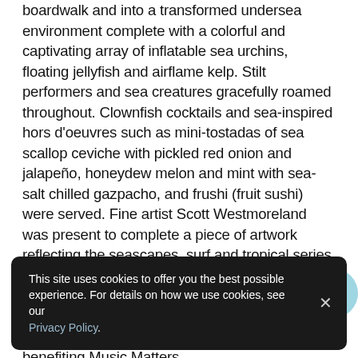boardwalk and into a transformed undersea environment complete with a colorful and captivating array of inflatable sea urchins, floating jellyfish and airflame kelp. Stilt performers and sea creatures gracefully roamed throughout. Clownfish cocktails and sea-inspired hors d'oeuvres such as mini-tostadas of sea scallop ceviche with pickled red onion and jalapeño, honeydew melon and mint with sea-salt chilled gazpacho, and frushi (fruit sushi) were served. Fine artist Scott Westmoreland was present to complete a piece of artwork reflecting the seascapes, surf and tropical series of art that have made him a recognizable name on the national art scene. This treasured piece of art, titled Symphony Under the Sea, was auctioned off during the reception with proceeds benefiting Music Matters.
This site uses cookies to offer you the best possible experience. For details on how we use cookies, see our Privacy Policy.